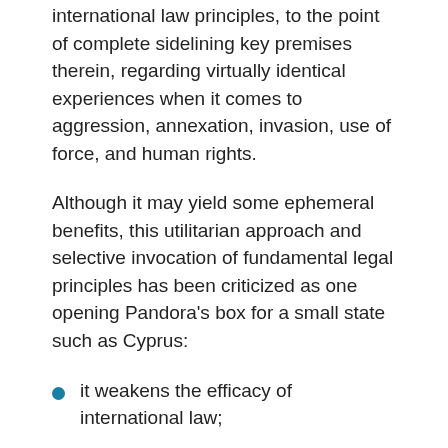international law principles, to the point of complete sidelining key premises therein, regarding virtually identical experiences when it comes to aggression, annexation, invasion, use of force, and human rights.
Although it may yield some ephemeral benefits, this utilitarian approach and selective invocation of fundamental legal principles has been criticized as one opening Pandora's box for a small state such as Cyprus:
it weakens the efficacy of international law;
it challenges the moral high ground they can otherwise claim;
it undermines the future use of law as a powerful tool against revisionist claims by more powerful adversaries;
and it eventually alienates friends and allies...